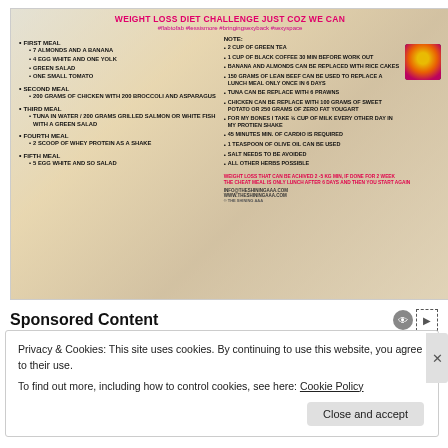[Figure (infographic): Weight loss diet challenge infographic with meal plan on left and notes on right, colorful food background]
Sponsored Content
Privacy & Cookies: This site uses cookies. By continuing to use this website, you agree to their use. To find out more, including how to control cookies, see here: Cookie Policy